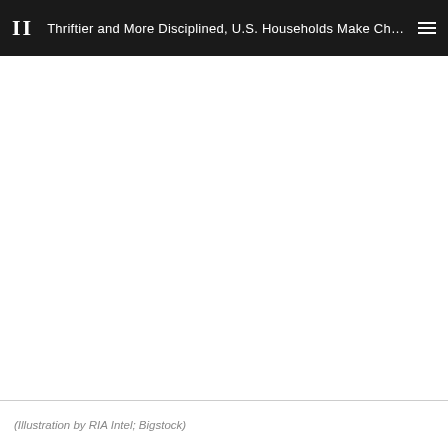II  Thriftier and More Disciplined, U.S. Households Make Changes Advisors ...
[Figure (illustration): Large white blank area representing an illustration placeholder]
(Illustration by RIA Intel; Bigstock)